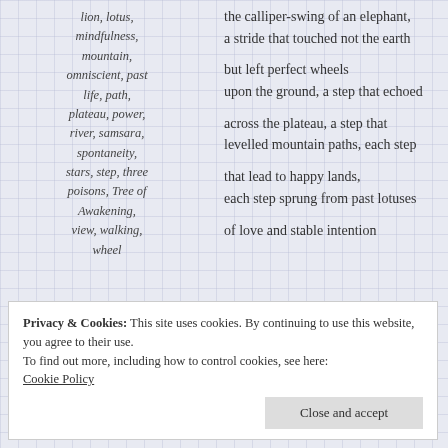lion, lotus, mindfulness, mountain, omniscient, past life, path, plateau, power, river, samsara, spontaneity, stars, step, three poisons, Tree of Awakening, view, walking, wheel
the calliper-swing of an elephant,
a stride that touched not the earth

but left perfect wheels
upon the ground, a step that echoed

across the plateau, a step that
levelled mountain paths, each step

that lead to happy lands,
each step sprung from past lotuses

of love and stable intention
Privacy & Cookies: This site uses cookies. By continuing to use this website, you agree to their use.
To find out more, including how to control cookies, see here:
Cookie Policy
Close and accept